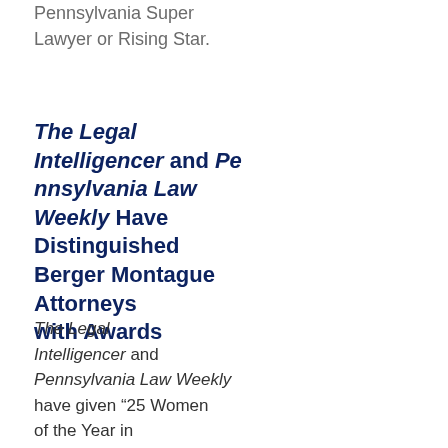were named a Pennsylvania Super Lawyer or Rising Star.
The Legal Intelligencer and Pennsylvania Law Weekly Have Distinguished Berger Montague Attorneys with Awards
The Legal Intelligencer and Pennsylvania Law Weekly have given “25 Women of the Year in Pennsylvania,” “Top 30